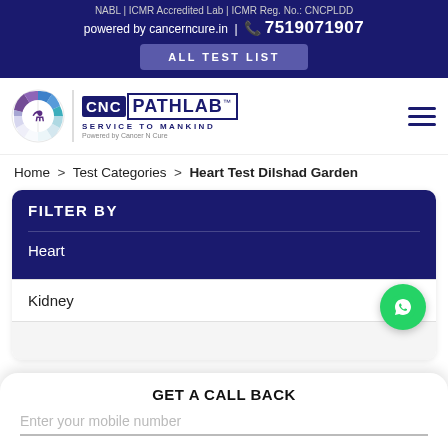NABL | ICMR Accredited Lab | ICMR Reg. No.: CNCPLDD
powered by cancerncure.in | 7519071907
ALL TEST LIST
[Figure (logo): CNC PathLab logo with circular icon and text 'CNC PATHLAB SERVICE TO MANKIND Powered by Cancer N Cure']
Home > Test Categories > Heart Test Dilshad Garden
FILTER BY
Heart
Kidney
GET A CALL BACK
Enter your mobile number